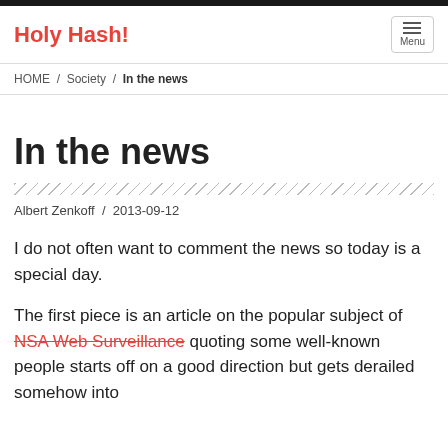Holy Hash!
HOME / Society / In the news
In the news
Albert Zenkoff / 2013-09-12
I do not often want to comment the news so today is a special day.
The first piece is an article on the popular subject of NSA Web Surveillance quoting some well-known people starts off on a good direction but gets derailed somehow into